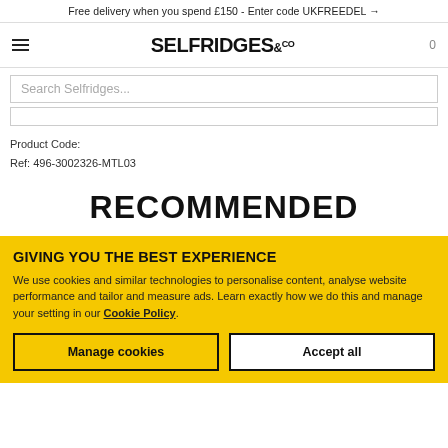Free delivery when you spend £150 - Enter code UKFREEDEL →
[Figure (logo): Selfridges & Co logo with hamburger menu and cart icon]
Search Selfridges...
Product Code:
Ref: 496-3002326-MTL03
RECOMMENDED
GIVING YOU THE BEST EXPERIENCE
We use cookies and similar technologies to personalise content, analyse website performance and tailor and measure ads. Learn exactly how we do this and manage your setting in our Cookie Policy.
Manage cookies
Accept all